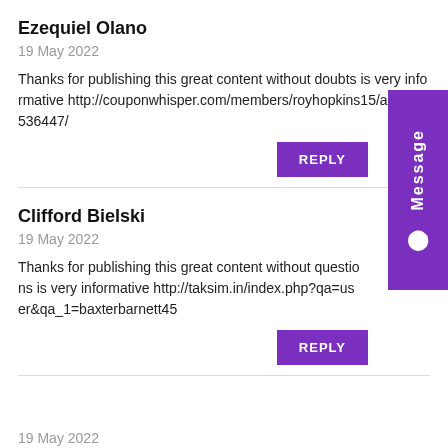Ezequiel Olano
19 May 2022
Thanks for publishing this great content without doubts is very informative http://couponwhisper.com/members/royhopkins15/activity/536447/
Clifford Bielski
19 May 2022
Thanks for publishing this great content without questions is very informative http://taksim.in/index.php?qa=user&qa_1=baxterbarnett45
￹￹￹￹￹￹
19 May 2022
Incorporating a payment system following the methods underneath